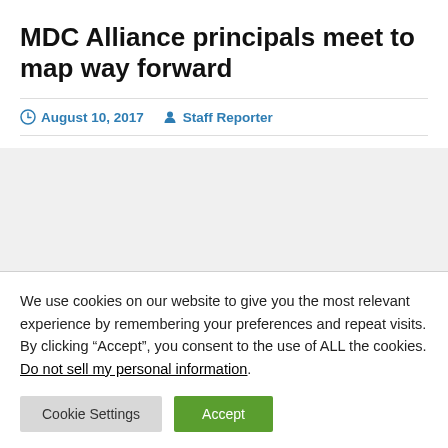MDC Alliance principals meet to map way forward
August 10, 2017   Staff Reporter
We use cookies on our website to give you the most relevant experience by remembering your preferences and repeat visits. By clicking “Accept”, you consent to the use of ALL the cookies. Do not sell my personal information.